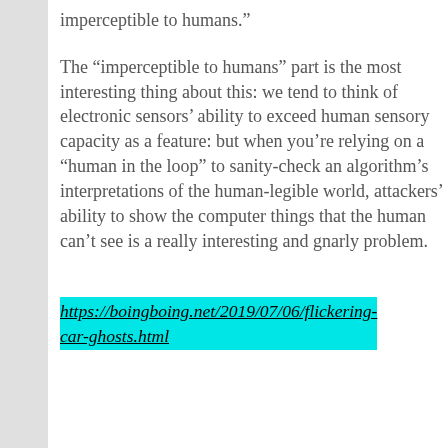imperceptible to humans.”
The “imperceptible to humans” part is the most interesting thing about this: we tend to think of electronic sensors’ ability to exceed human sensory capacity as a feature: but when you’re relying on a “human in the loop” to sanity-check an algorithm’s interpretations of the human-legible world, attackers’ ability to show the computer things that the human can’t see is a really interesting and gnarly problem.
https://boingboing.net/2019/07/06/flickering-car-ghosts.html